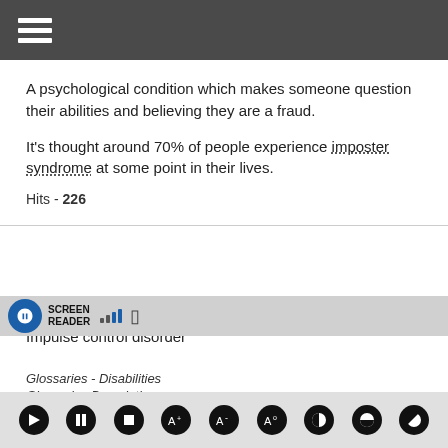[Figure (screenshot): Dark grey navigation bar with hamburger menu icon (three white horizontal lines)]
A psychological condition which makes someone question their abilities and believing they are a fraud.
It's thought around 70% of people experience imposter syndrome at some point in their lives.
Hits - 226
Impulse control disorder
Glossaries - Disabilities
Glossaries Description -
[Figure (screenshot): Screen Reader toolbar with icon, signal bars, and media control buttons]